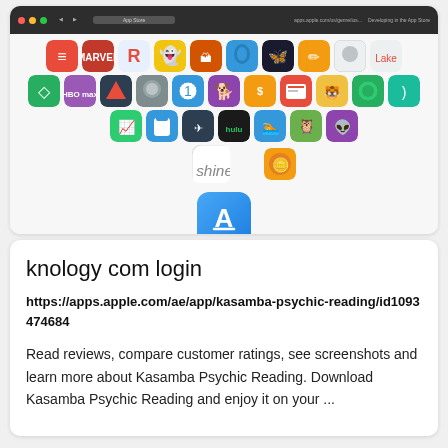[Figure (screenshot): Screenshot of the Apple App Store website showing a grid of app icons including various apps like Hulu, Duolingo, Snapchat, HBO Max, and others, with a large App Store icon (blue with white compass/letter A symbol) centered at the bottom of the screenshot.]
knology com login
https://apps.apple.com/ae/app/kasamba-psychic-reading/id1093474684
Read reviews, compare customer ratings, see screenshots and learn more about Kasamba Psychic Reading. Download Kasamba Psychic Reading and enjoy it on your ...